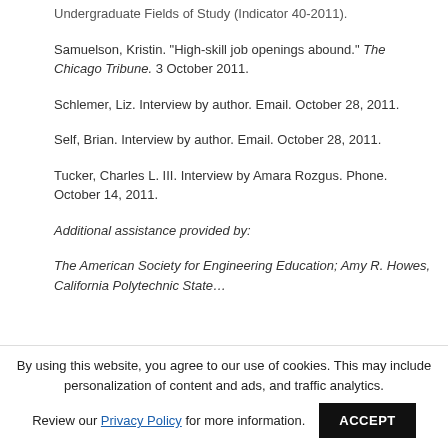Undergraduate Fields of Study (Indicator 40-2011).
Samuelson, Kristin. "High-skill job openings abound." The Chicago Tribune. 3 October 2011.
Schlemer, Liz. Interview by author. Email. October 28, 2011.
Self, Brian. Interview by author. Email. October 28, 2011.
Tucker, Charles L. III. Interview by Amara Rozgus. Phone. October 14, 2011.
Additional assistance provided by:
The American Society for Engineering Education; Amy R. Howes, California Polytechnic State…
By using this website, you agree to our use of cookies. This may include personalization of content and ads, and traffic analytics. Review our Privacy Policy for more information. ACCEPT